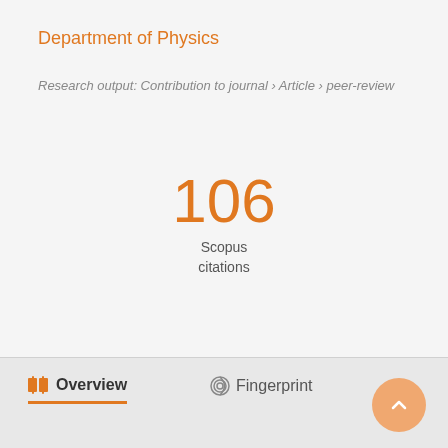Department of Physics
Research output: Contribution to journal › Article › peer-review
106
Scopus
citations
Overview   Fingerprint